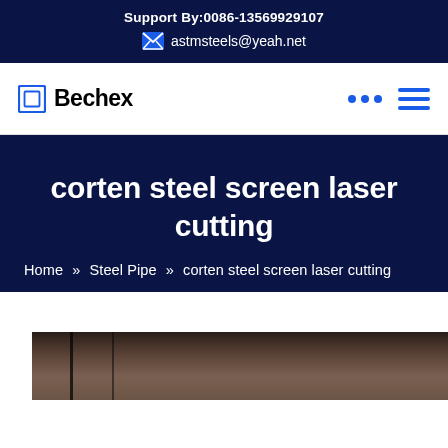Support By:0086-13569929107
astmsteels@yeah.net
Bechex
corten steel screen laser cutting
Home » Steel Pipe » corten steel screen laser cutting
[Figure (photo): Partial view of dark metal material, likely corten steel, at bottom of page]